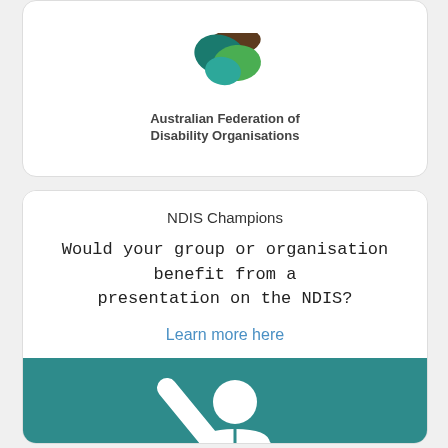[Figure (logo): Australian Federation of Disability Organisations logo with abstract coloured shape (teal, green, brown)]
Australian Federation of Disability Organisations
NDIS Champions
Would your group or organisation benefit from a presentation on the NDIS?
Learn more here
[Figure (illustration): White icon on teal background showing a person with a raised arm and an NDIS badge/medal around their neck]